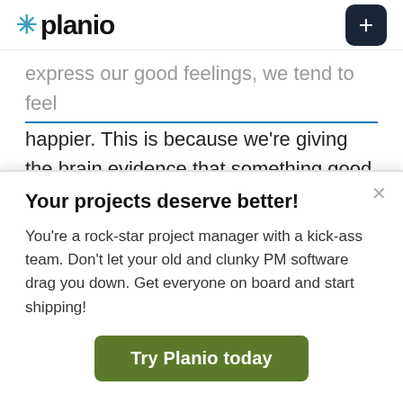✳ planio  [+ button]
express our good feelings, we tend to feel happier. This is because we're giving the brain evidence that something good has happened. The brain can take in and respond to the external signs of good news when we express ourselves outwardly, which serves to compound our initial good feelings.
Your projects deserve better!
You're a rock-star project manager with a kick-ass team. Don't let your old and clunky PM software drag you down. Get everyone on board and start shipping!
Try Planio today